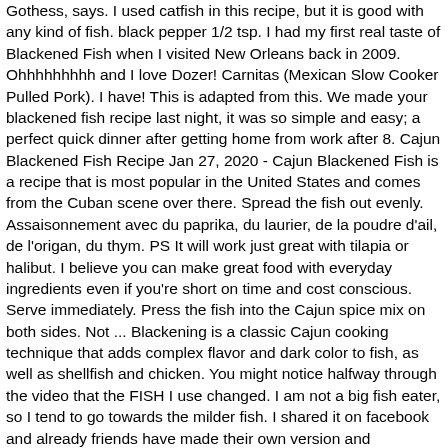Gothess, says. I used catfish in this recipe, but it is good with any kind of fish. black pepper 1/2 tsp. I had my first real taste of Blackened Fish when I visited New Orleans back in 2009. Ohhhhhhhhh and I love Dozer! Carnitas (Mexican Slow Cooker Pulled Pork). I have! This is adapted from this. We made your blackened fish recipe last night, it was so simple and easy; a perfect quick dinner after getting home from work after 8. Cajun Blackened Fish Recipe Jan 27, 2020 - Cajun Blackened Fish is a recipe that is most popular in the United States and comes from the Cuban scene over there. Spread the fish out evenly. Assaisonnement avec du paprika, du laurier, de la poudre d'ail, de l'origan, du thym. PS It will work just great with tilapia or halibut. I believe you can make great food with everyday ingredients even if you're short on time and cost conscious. Serve immediately. Press the fish into the Cajun spice mix on both sides. Not ... Blackening is a classic Cajun cooking technique that adds complex flavor and dark color to fish, as well as shellfish and chicken. You might notice halfway through the video that the FISH I use changed. I am not a big fish eater, so I tend to go towards the milder fish. I shared it on facebook and already friends have made their own version and commented on how much they enjoyed it. Cajun blackened fish steaks | Seafood recipes | Jamie Oliver Serves 4 2. butter, melted 4 fish fillets 1/2 tsp. 58% of homecooks would also make this recipe! The cook time for fish will differ depending on size. send. 0 %, Cajun Blackened Salmon With Pureed Peas and Door Stop Fries. Jan 7, 2019 - A classic cooking technique from the South, a mix of spices